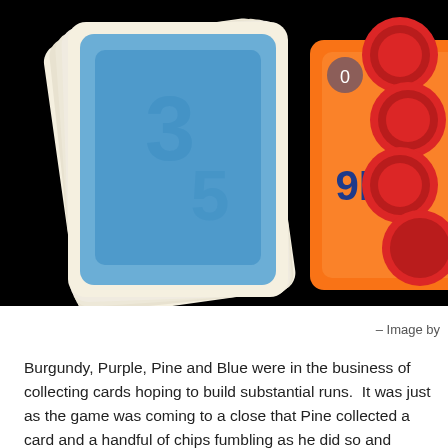[Figure (photo): Photo of a stack of blue-backed playing cards and red poker chips on a black background, with a partially visible orange card showing '9L' on the right side.]
– Image by
Burgundy, Purple, Pine and Blue were in the business of collecting cards hoping to build substantial runs.  It was just as the game was coming to a close that Pine collected a card and a handful of chips fumbling as he did so and thought he'd dropped one.  He was sat on a bench between Black and Burgundy, so rather than disturbing everyone immediately, there were only a couple of cards left so he decided to leave finding it until the end of the game.  Blue and Pine fared better in their card-collecting than Burgundy and Purple, but Black had kept his head down and finished with just one run and with it the lowest score.  We recounted all the chips a